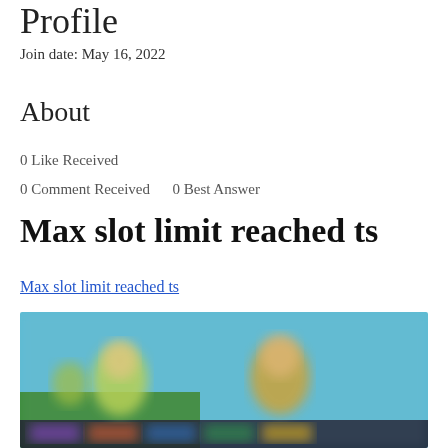Profile
Join date: May 16, 2022
About
0 Like Received
0 Comment Received    0 Best Answer
Max slot limit reached ts
Max slot limit reached ts
[Figure (screenshot): Blurred screenshot of a video game or streaming interface with colorful characters and game thumbnails]